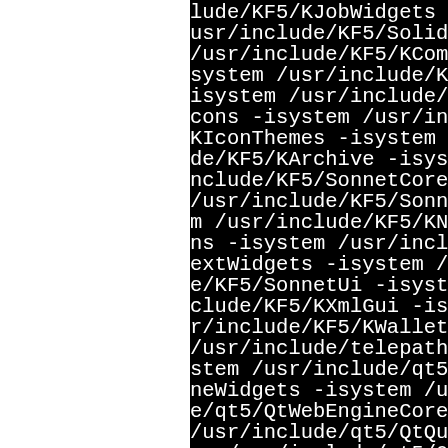lude/KF5/KJobWidgets -isystem /usr/include/KF5/Solid -isystem /usr/include/KF5/KCompletion -isystem /usr/include/KF5/KI system /usr/include/KF5/KI isystem /usr/include/KF5/K cons -isystem /usr/include/ KIconThemes -isystem /usr/ de/KF5/KArchive -isystem / nclude/KF5/SonnetCore -isystem /usr/include/KF5/Sonnet -isystem m /usr/include/KF5/KNotif ns -isystem /usr/include/K extWidgets -isystem /usr/i e/KF5/SonnetUi -isystem /u clude/KF5/KXmlGui -isystem r/include/KF5/KWallet -isystem /usr/include/telepathy-qt5 stem /usr/include/qt5/QtWe neWidgets -isystem /usr/in e/qt5/QtWebEngineCore -isy /usr/include/qt5/QtQuick em /usr/include/qt5/QtQmlM -isystem /usr/include/qt5/ -isystem /usr/include/qt5/